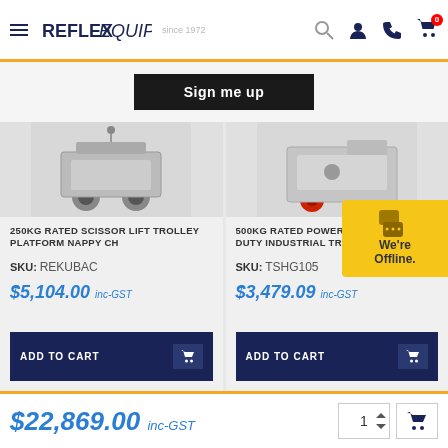Reflex Equip - header navigation
Sign me up
[Figure (photo): Partial view of two product trolleys - scissor lift trolley and powered heavy duty industrial trolley]
250KG RATED SCISSOR LIFT TROLLEY PLATFORM NAPPY CH
SKU: REKUBAC
$5,104.00 inc-GST
ADD TO CART
500KG RATED POWERED HEAVY DUTY INDUSTRIAL TROLLEY
SKU: TSHG105
$3,479.09 inc-GST
ADD TO CART
We're Offline.
$22,869.00 inc-GST  1  cart